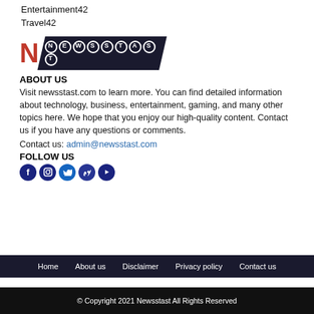Health37
Entertainment42
Travel42
[Figure (logo): Newsstast logo with red N and dark banner with NEWSSTAST text]
ABOUT US
Visit newsstast.com to learn more. You can find detailed information about technology, business, entertainment, gaming, and many other topics here. We hope that you enjoy our high-quality content. Contact us if you have any questions or comments.
Contact us: admin@newsstast.com
FOLLOW US
[Figure (infographic): Social media icons: Facebook, Instagram, Twitter, Vimeo, YouTube]
Home   About us   Disclaimer   Privacy policy   Contact us
© Copyright 2021 Newsstast All Rights Reserved